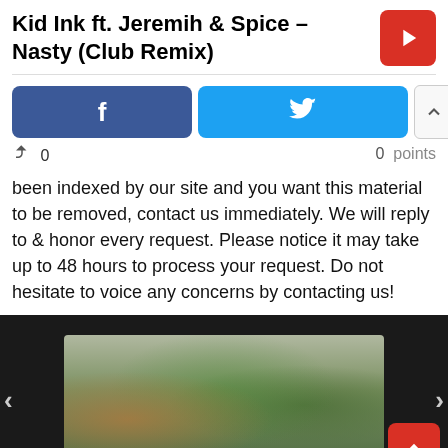Kid Ink ft. Jeremih & Spice – Nasty (Club Remix)
[Figure (screenshot): Social sharing buttons: Facebook (blue), Twitter (cyan), and up/down vote buttons (light gray border)]
0
0  points
been indexed by our site and you want this material to be removed, contact us immediately. We will reply to & honor every request. Please notice it may take up to 48 hours to process your request. Do not hesitate to voice any concerns by contacting us!
[Figure (photo): Dark background section with a partially visible indoor photo showing plants, a lamp, and decorative elements with navigation arrows on sides and a red up-arrow button at bottom right]